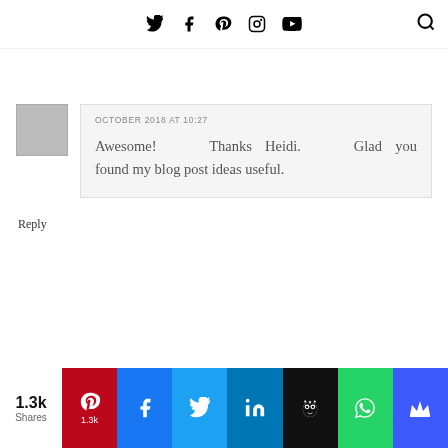Twitter | Facebook | Pinterest | Instagram | YouTube | Search
OCTOBER 2018 AT 10:27
Awesome! Thanks Heidi. Glad you found my blog post ideas useful.
Reply
[Figure (infographic): Social share bar showing 1.3k shares with buttons for Pinterest (1.3k), Facebook, Twitter, LinkedIn, Hootsuite, WhatsApp, and a crown icon]